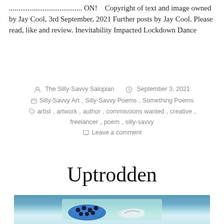....................................... ON!    Copyright of text and image owned by Jay Cool, 3rd September, 2021 Further posts by Jay Cool. Please read, like and review. Inevitability Impacted Lockdown Dance
By The Silly-Savvy Salopian  September 3, 2021
Silly-Savvy Art, Silly-Savvy Poems, Something Poems
artist, artwork, author, commissions wanted, creative, freelancer, poem, silly-savvy
Leave a comment
Uptrodden
[Figure (photo): Partial view of a painting or artwork on a light blue/teal background, showing what appears to be colorful shoe or object shapes in blue and black tones.]